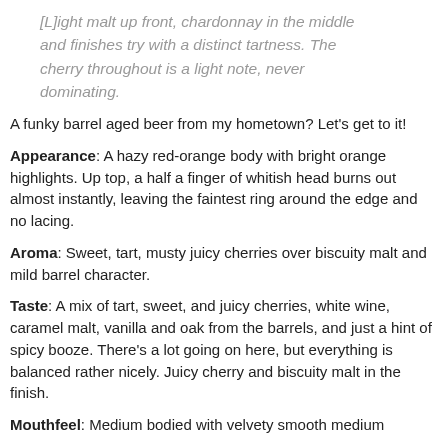[L]ight malt up front, chardonnay in the middle and finishes try with a distinct tartness. The cherry throughout is a light note, never dominating.
A funky barrel aged beer from my hometown? Let's get to it!
Appearance: A hazy red-orange body with bright orange highlights. Up top, a half a finger of whitish head burns out almost instantly, leaving the faintest ring around the edge and no lacing.
Aroma: Sweet, tart, musty juicy cherries over biscuity malt and mild barrel character.
Taste: A mix of tart, sweet, and juicy cherries, white wine, caramel malt, vanilla and oak from the barrels, and just a hint of spicy booze. There's a lot going on here, but everything is balanced rather nicely. Juicy cherry and biscuity malt in the finish.
Mouthfeel: Medium bodied with velvety smooth medium